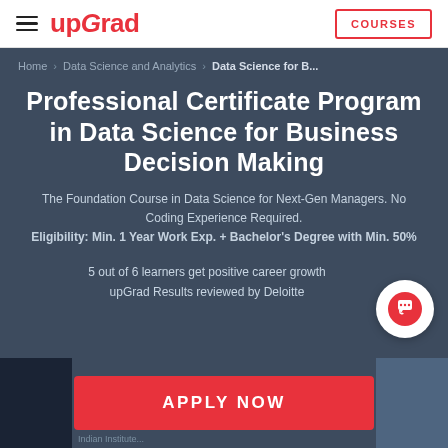upGrad | COURSES
Home > Data Science and Analytics > Data Science for B...
Professional Certificate Program in Data Science for Business Decision Making
The Foundation Course in Data Science for Next-Gen Managers. No Coding Experience Required.
Eligibility: Min. 1 Year Work Exp. + Bachelor's Degree with Min. 50%
5 out of 6 learners get positive career growth
upGrad Results reviewed by Deloitte
APPLY NOW